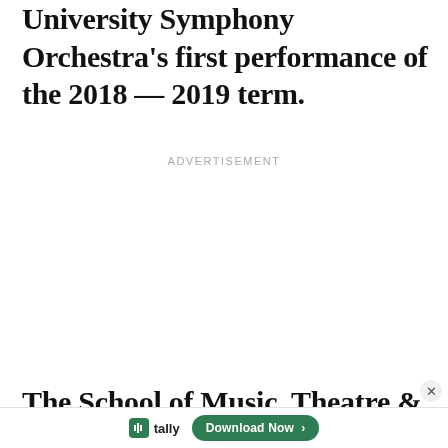University Symphony Orchestra's first performance of the 2018 — 2019 term.
ADVERTISEMENT
The School of Music, Theatre & Dance (SMTD